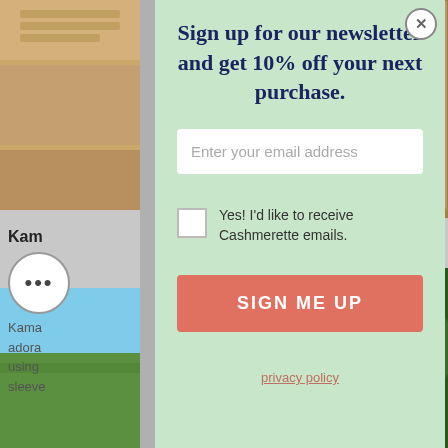[Figure (screenshot): Website popup overlay on a blog page. Background shows partial photos and text. Foreground is a mint green modal with newsletter signup.]
Sign up for our newsletter and get 10% off your next purchase.
Enter your email address
Yes! I'd like to receive Cashmerette emails.
SIGN ME UP
privacy policy